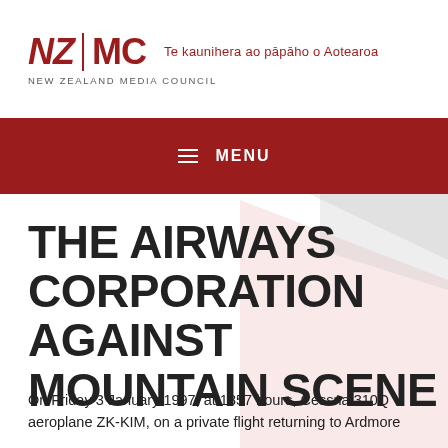NZ | MC  Te kaunihera ao pāpāho o Aotearoa
NEW ZEALAND MEDIA COUNCIL
[Figure (logo): New Zealand Media Council logo with NZ|MC text and Māori tagline 'Te kaunihera ao pāpāho o Aotearoa']
☰  MENU
THE AIRWAYS CORPORATION AGAINST MOUNTAIN SCENE
On Friday 3 January 1997, at 1357 hours, Cessna 310Q aeroplane ZK-KIM, on a private flight returning to Ardmore